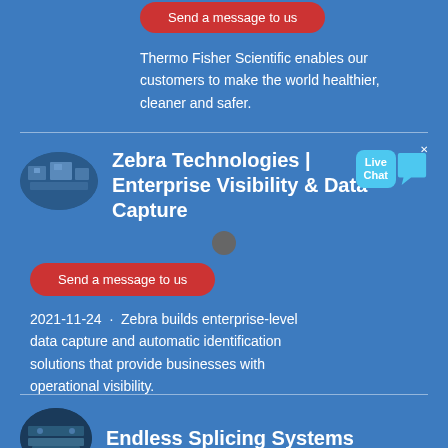[Figure (other): Red rounded button labeled 'Send a message to us']
Thermo Fisher Scientific enables our customers to make the world healthier, cleaner and safer.
[Figure (other): Oval thumbnail image of industrial equipment for Zebra Technologies listing]
Zebra Technologies | Enterprise Visibility & Data Capture
[Figure (other): Live Chat bubble widget with close X button]
[Figure (other): Small circular progress indicator dot]
[Figure (other): Red rounded button labeled 'Send a message to us']
2021-11-24 · Zebra builds enterprise-level data capture and automatic identification solutions that provide businesses with operational visibility.
[Figure (photo): Oval thumbnail image of industrial splicing equipment]
Endless Splicing Systems